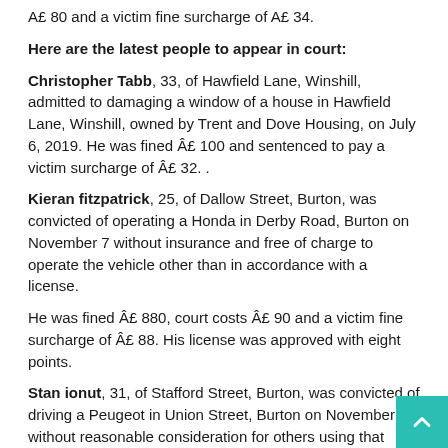A£ 80 and a victim fine surcharge of A£ 34.
Here are the latest people to appear in court:
Christopher Tabb, 33, of Hawfield Lane, Winshill, admitted to damaging a window of a house in Hawfield Lane, Winshill, owned by Trent and Dove Housing, on July 6, 2019. He was fined Â£ 100 and sentenced to pay a victim surcharge of Â£ 32. .
Kieran fitzpatrick, 25, of Dallow Street, Burton, was convicted of operating a Honda in Derby Road, Burton on November 7 without insurance and free of charge to operate the vehicle other than in accordance with a license.
He was fined Â£ 880, court costs Â£ 90 and a victim fine surcharge of Â£ 88. His license was approved with eight points.
Stan ionut, 31, of Stafford Street, Burton, was convicted of driving a Peugeot in Union Street, Burton on November 7 without reasonable consideration for others using that road.